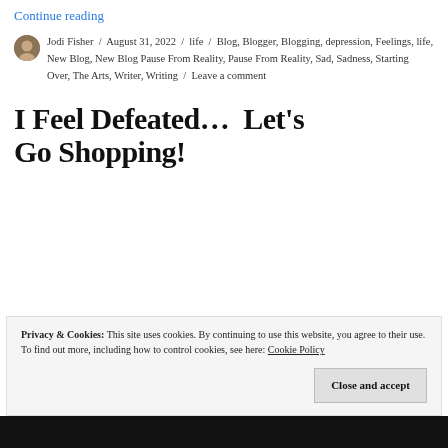Continue reading
Jodi Fisher / August 31, 2022 / life / Blog, Blogger, Blogging, depression, Feelings, life, New Blog, New Blog Pause From Reality, Pause From Reality, Sad, Sadness, Starting Over, The Arts, Writer, Writing / Leave a comment
I Feel Defeated…  Let's Go Shopping!
Privacy & Cookies: This site uses cookies. By continuing to use this website, you agree to their use.
To find out more, including how to control cookies, see here: Cookie Policy
Close and accept